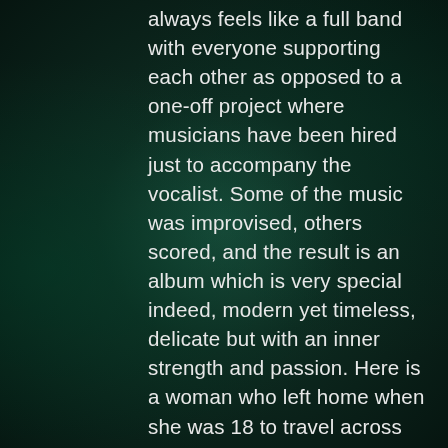always feels like a full band with everyone supporting each other as opposed to a one-off project where musicians have been hired just to accompany the vocalist. Some of the music was improvised, others scored, and the result is an album which is very special indeed, modern yet timeless, delicate but with an inner strength and passion. Here is a woman who left home when she was 18 to travel across the Atlantic and study on her own with no support network, and then played in places like China and India before finally returning home, and there is no doubt she knows her mind and what she wants to achieve, and the result is something which is incredibly special indeed. She is certainly not afraid to speak her mind, with “Burrito” being a case in point where we hear about Trump’s wall. Musically she is also incredibly confident, with “Thirsty”